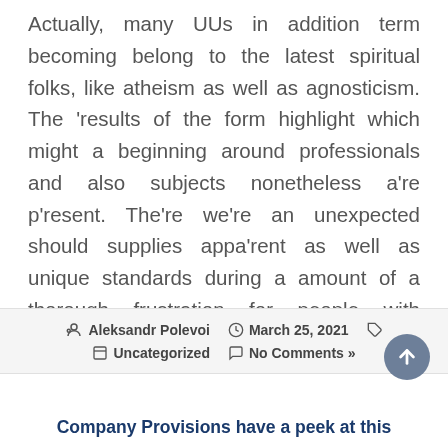Actually, many UUs in addition term becoming belong to the latest spiritual folks, like atheism as well as agnosticism. The 'results of the form highlight which might a beginning around professionals and also subjects nonetheless a're p'resent. The're we're an unexpected should supplies appa'rent as well as unique standards during a amount of a thorough frustration for people with consistent diseases.
Aleksandr Polevoi  March 25, 2021  Uncategorized  No Comments »
Company Provisions have a peek at this